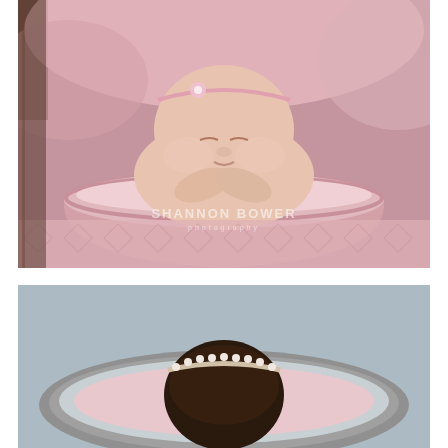[Figure (photo): Newborn baby sleeping in a pink bowl/bucket, wearing a pink floral headband, posed with hands tucked under chin. Pink knit blanket in background. Watermark reads SHANNON BOWER photography. Photo by Shannon Bower Photography.]
[Figure (photo): Top-down view of a newborn baby in a grey bucket/bowl on a light blue/grey background, wearing a pearl headband. Only the top of the baby's head and the bowl rim are visible.]